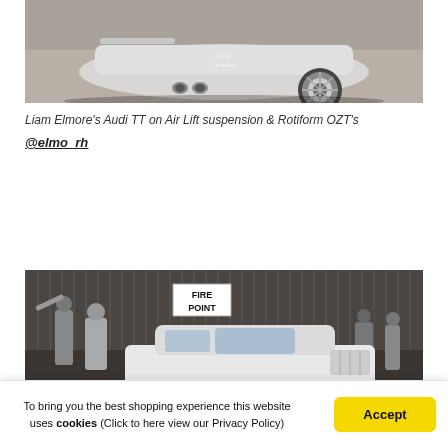[Figure (photo): Photo of a white/silver Audi TT lowrider car showing the rear quarter and wheel, on Air Lift suspension with Rotiform OZT wheels, shot on a concrete surface. A script watermark is visible.]
Liam Elmore's Audi TT on Air Lift suspension & Rotiform OZT's
@elmo_rh
[Figure (photo): Photo of a white classic car at an automotive show event inside a hangar/industrial building. A crowd of people surrounds the car. A 'FIRE POINT' sign is visible in the background.]
To bring you the best shopping experience this website uses cookies (Click to here view our Privacy Policy)